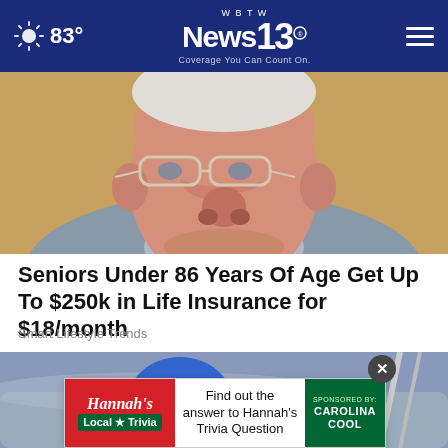WBTW News 13 — Coverage You Can Count On. 83°
[Figure (photo): Close-up photo of an elderly man wearing glasses and a gray suit jacket, looking forward.]
Seniors Under 86 Years Of Age Get Up To $250k in Life Insurance for $18/month
Smart Lifestyle Trends
[Figure (photo): Photo of a worker wearing a blue harness working on a car or vehicle surface.]
[Figure (infographic): Hannah's Local Trivia advertisement banner. Text reads: Find out the answer to Hannah's Trivia Question. Sponsored by: Carolina Cool.]